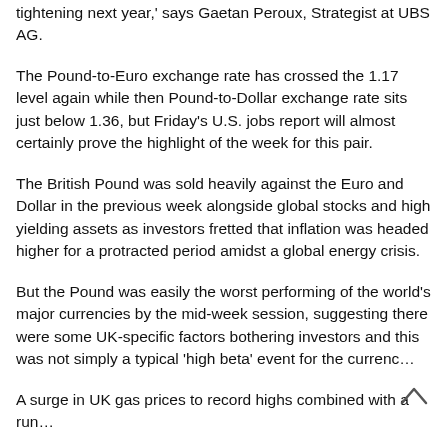tightening next year,' says Gaetan Peroux, Strategist at UBS AG.
The Pound-to-Euro exchange rate has crossed the 1.17 level again while then Pound-to-Dollar exchange rate sits just below 1.36, but Friday's U.S. jobs report will almost certainly prove the highlight of the week for this pair.
The British Pound was sold heavily against the Euro and Dollar in the previous week alongside global stocks and high yielding assets as investors fretted that inflation was headed higher for a protracted period amidst a global energy crisis.
But the Pound was easily the worst performing of the world's major currencies by the mid-week session, suggesting there were some UK-specific factors bothering investors and this was not simply a typical 'high beta' event for the currenc…
A surge in UK gas prices to record highs combined with a run…